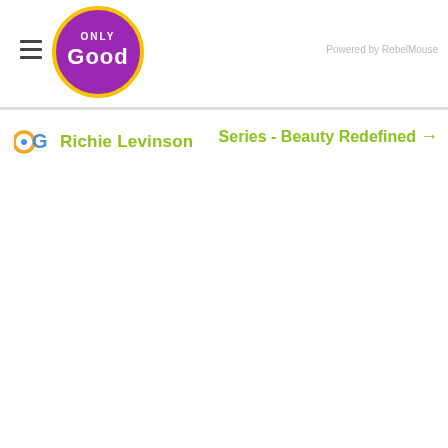Only Good · Powered by RebelMouse
Richie Levinson
Series - Beauty Redefined →